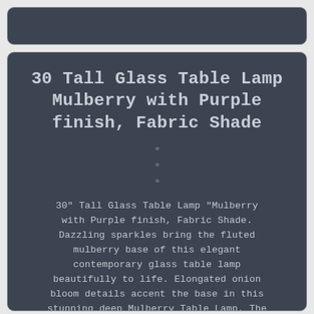30 Tall Glass Table Lamp Mulberry with Purple finish, Fabric Shade
○
○
○
30" Tall Glass Table Lamp "Mulberry with Purple finish, Fabric Shade. Dazzling sparkles bring the fluted mulberry base of this elegant contemporary glass table lamp beautifully to life. Elongated onion bloom details accent the base in this stunning deep Mulberry Table Lamp. The fluted art glass construction creates an eye catching shape topped with an Fabric shade in drum shape.